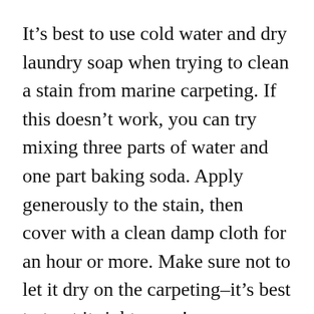It's best to use cold water and dry laundry soap when trying to clean a stain from marine carpeting. If this doesn't work, you can try mixing three parts of water and one part baking soda. Apply generously to the stain, then cover with a clean damp cloth for an hour or more. Make sure not to let it dry on the carpeting–it's best to treat it right away!
You can also prevent stinky footprints using soap or dishwashing detergent mixed with surfactant. When doing this, always test an